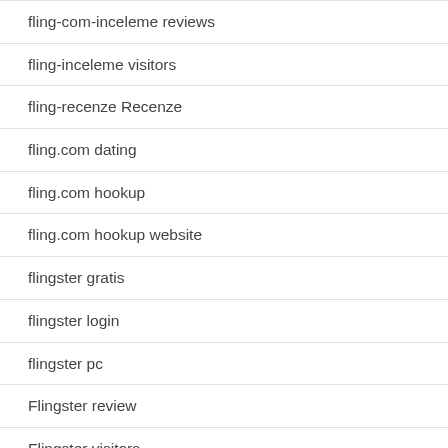fling-com-inceleme reviews
fling-inceleme visitors
fling-recenze Recenze
fling.com dating
fling.com hookup
fling.com hookup website
flingster gratis
flingster login
flingster pc
Flingster review
Flingster visitors